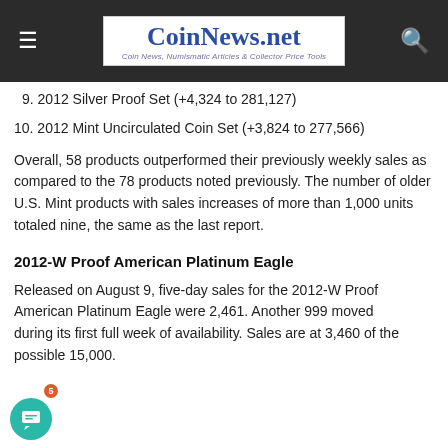CoinNews.net — Coin News, Numismatic Articles & Collector Price Tools
9. 2012 Silver Proof Set (+4,324 to 281,127)
10. 2012 Mint Uncirculated Coin Set (+3,824 to 277,566)
Overall, 58 products outperformed their previously weekly sales as compared to the 78 products noted previously. The number of older U.S. Mint products with sales increases of more than 1,000 units totaled nine, the same as the last report.
2012-W Proof American Platinum Eagle
Released on August 9, five-day sales for the 2012-W Proof American Platinum Eagle were 2,461. Another 999 moved during its first full week of availability. Sales are at 3,460 of the possible 15,000.